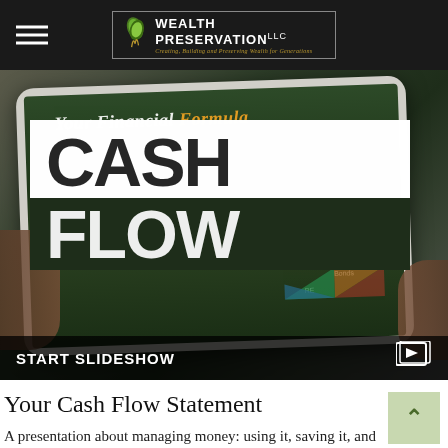Wealth Preservation, LLC — Creating, Building and Preserving Wealth for Generations
[Figure (photo): Hero image showing hands holding a tablet displaying 'Your Financial Formula' with a pie/bar chart, overlaid with large text reading 'CASH FLOW' in white and dark blocks, and a 'START SLIDESHOW' bar at the bottom]
Your Cash Flow Statement
A presentation about managing money: using it, saving it, and